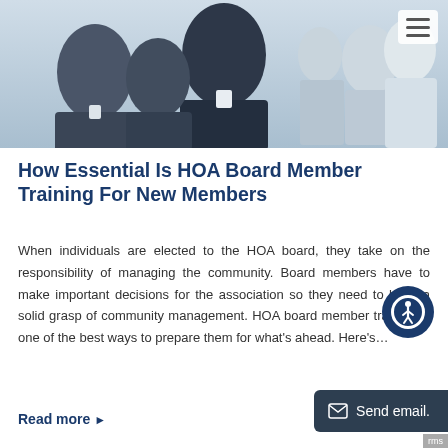[Figure (photo): Photo of people seated at a conference or meeting, viewed from behind, wearing business attire.]
How Essential Is HOA Board Member Training For New Members
When individuals are elected to the HOA board, they take on the responsibility of managing the community. Board members have to make important decisions for the association so they need to have a solid grasp of community management. HOA board member training is one of the best ways to prepare them for what’s ahead. Here’s…
Read more ►